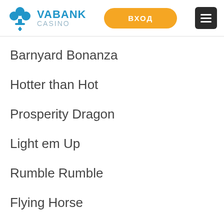VABANK CASINO | ВХОД | menu
Barnyard Bonanza
Hotter than Hot
Prosperity Dragon
Light em Up
Rumble Rumble
Flying Horse
Glitter Gems